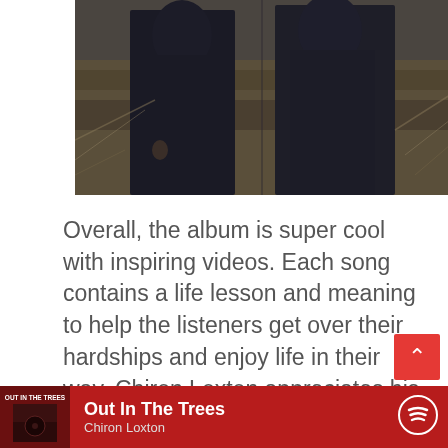[Figure (photo): Cropped photo of two people standing outdoors in dark clothing against a background of dry grass and brush.]
Overall, the album is super cool with inspiring videos. Each song contains a life lesson and meaning to help the listeners get over their hardships and enjoy life in their way. Chiron Loxton appreciates his self-worth through writing these beautiful and meaningful lyrics. If you plan to go on a trip, it makes a perfect combination for your journey while driving the car. With this extraordinary performance in the new album, we must say that Chiron Loxton will rock the music industry by releasing more influential and meaningful songs and keep going hard for his fans.
[Figure (screenshot): Spotify player bar at the bottom showing 'Out In The Trees' by Chiron Loxton with album thumbnail and Spotify logo on red background.]